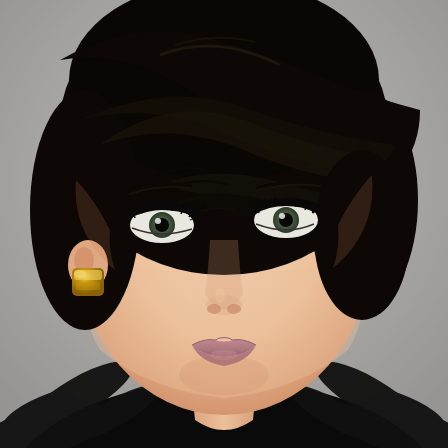[Figure (photo): Close-up portrait photo of a young woman with short dark pixie-cut hair with side-swept bangs, green/grey eyes with dramatic eyeliner, light skin with subtle blush makeup, wearing a gold rectangular earring and a black textured/feathered top. She is looking slightly to the right of the camera. The background is light grey/white.]